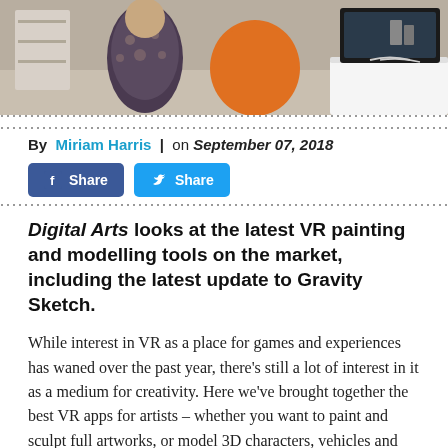[Figure (photo): Photograph of a person sitting at a desk with an orange chair and monitor/computer setup in a studio or office environment]
By Miriam Harris | on September 07, 2018
[Figure (screenshot): Facebook Share button and Twitter Share button]
Digital Arts looks at the latest VR painting and modelling tools on the market, including the latest update to Gravity Sketch.
While interest in VR as a place for games and experiences has waned over the past year, there's still a lot of interest in it as a medium for creativity. Here we've brought together the best VR apps for artists – whether you want to paint and sculpt full artworks, or model 3D characters, vehicles and props for use in...